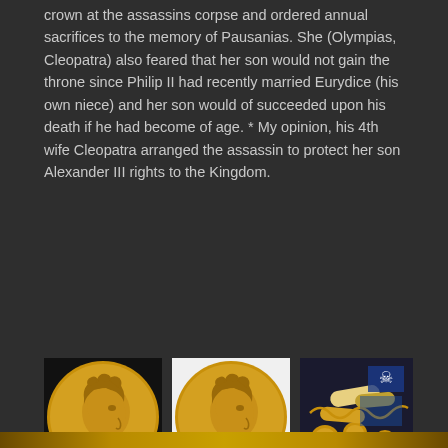crown at the assassins corpse and ordered annual sacrifices to the memory of Pausanias. She (Olympias, Cleopatra) also feared that her son would not gain the throne since Philip II had recently married Eurydice (his own niece) and her son would of succeeded upon his death if he had become of age. * My opinion, his 4th wife Cleopatra arranged the assassin to protect her son Alexander III rights to the Kingdom.
[Figure (photo): Gold coin showing side profile portrait of a figure with curly hair, black background]
[Figure (photo): Gold coin showing side profile portrait of a figure with curly hair, white background]
[Figure (photo): Collection of ancient artifacts including coins, chains, and cylindrical objects on dark background]